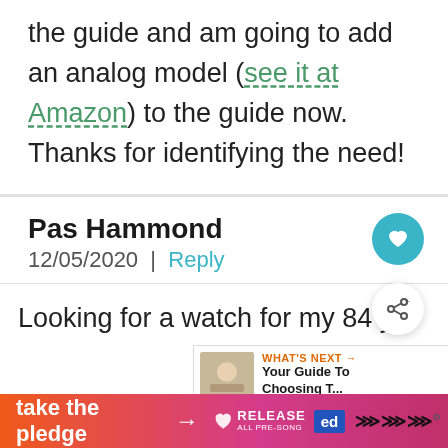the guide and am going to add an analog model (see it at Amazon) to the guide now. Thanks for identifying the need!
Pas Hammond
12/05/2020 | Reply
Looking for a watch for my 84 yo
[Figure (infographic): Take the pledge advertisement banner at the bottom with orange-to-pink gradient, arrow, RELEASE logo, and Ed logo]
WHAT'S NEXT → Your Guide To Choosing T...